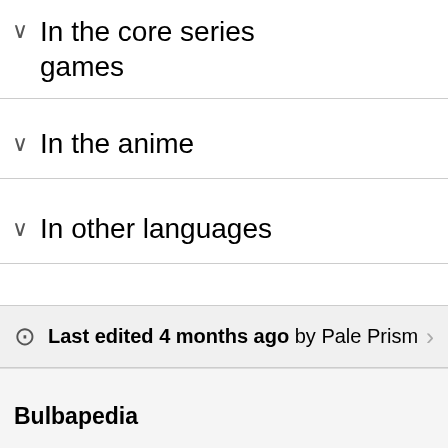In the core series games
In the anime
In other languages
External links
[Figure (infographic): Sidebar panel with tan/brown background showing: 'Introduced in Generation VII' and 'Pocket' with 'Generation VII' label and a white box showing a yellow diamond icon and 'Z-Cryst' text (Z-Crystal)]
Last edited 4 months ago by Pale Prism
Bulbapedia